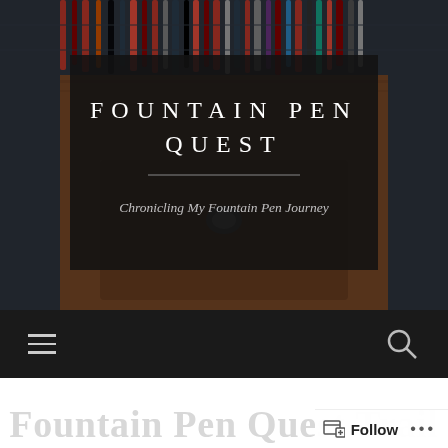[Figure (photo): Hero image of a brown leather pen case/pouch with fountain pens arranged in the background on a dark tiled surface. A dark semi-transparent overlay box sits in the center.]
FOUNTAIN PEN QUEST
Chronicling My Fountain Pen Journey
[Figure (screenshot): Dark navigation bar with hamburger menu icon on the left and search (magnifying glass) icon on the right]
Fountain Pen Quest Trail
Follow